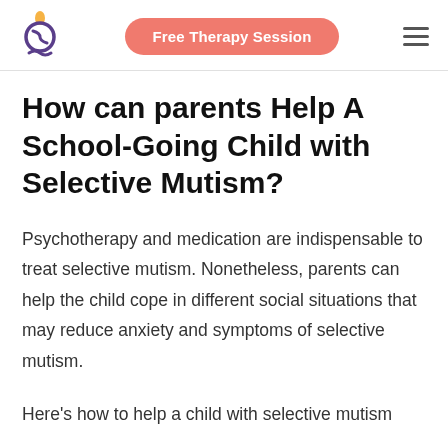Free Therapy Session
How can parents Help A School-Going Child with Selective Mutism?
Psychotherapy and medication are indispensable to treat selective mutism. Nonetheless, parents can help the child cope in different social situations that may reduce anxiety and symptoms of selective mutism.
Here's how to help a child with selective mutism